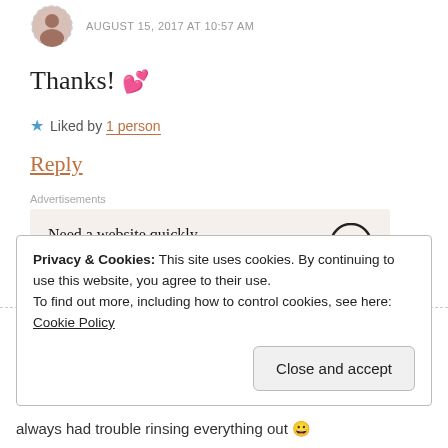AUGUST 15, 2017 AT 10:57 AM
Thanks! 💕
★ Liked by 1 person
Reply
Advertisements
Need a website quickly – and on a budget?
REPORT THIS AD
Privacy & Cookies: This site uses cookies. By continuing to use this website, you agree to their use.
To find out more, including how to control cookies, see here:
Cookie Policy
Close and accept
always had trouble rinsing everything out 😀